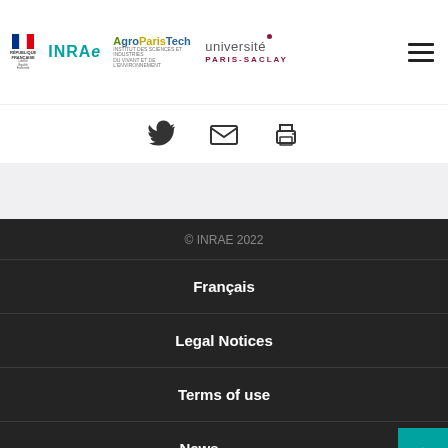République Française | INRAE | AgroParisTech | Université Paris-Saclay
[Figure (other): Social media icons: Twitter bird, envelope/email, printer]
© INRAE 2022
Français
Legal Notices
Terms of use
News